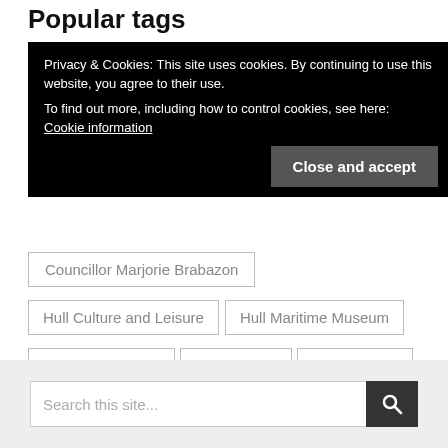Popular tags
Privacy & Cookies: This site uses cookies. By continuing to use this website, you agree to their use.
To find out more, including how to control cookies, see here: Cookie information
Close and accept
Councillor Marjorie Brabazon
Hull Culture and Leisure
Hull Maritime Museum
Ferens Art Gallery
Bonus Arena
Trinity Market
Fly-tipping
Councillor Shane McMurray
Hull weekly roadworks update
Search this site...